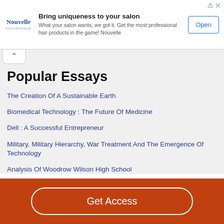[Figure (other): Nouvelle hair products advertisement banner with logo, tagline 'Bring uniqueness to your salon', description text, and Open button]
Popular Essays
The Creation Of A Sustainable Earth
Biomedical Technology : The Future Of Medicine
Dell : A Successful Entrepreneur
Military, Military Hierarchy, War Treatment And The Emergence Of Technology
Analysis Of Woodrow Wilson High School
Get Access